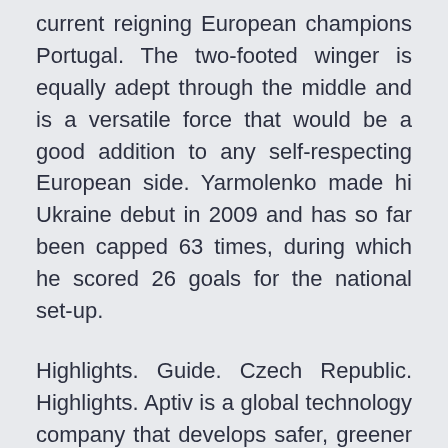current reigning European champions Portugal. The two-footed winger is equally adept through the middle and is a versatile force that would be a good addition to any self-respecting European side. Yarmolenko made hi Ukraine debut in 2009 and has so far been capped 63 times, during which he scored 26 goals for the national set-up.
Highlights. Guide. Czech Republic. Highlights. Aptiv is a global technology company that develops safer, greener and more connected solutions, which enable the future of mobility.